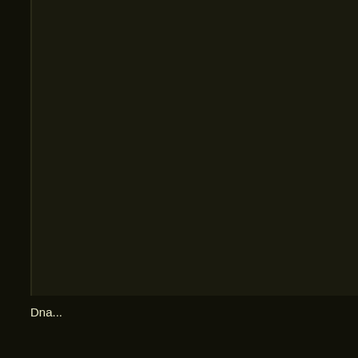After Columbus' death in 1506, European explorers continu... eventually empires in north and south America.
NOTE: for one famous individual to have so much cont... very uncommon...even though he lived over 500 years ... (who, by the way, is a college professor) attempted to e... Columbus was most likely an alien hybrid who was gen... group of non-human beings living in present day Turke... Columbus was of Catalan-Genoan descent and most li... Spain. But my guess is as good as any other...Lon
Columbus DNA Tests
Christopher Columbus writings prove he was Spanish,
Dna...